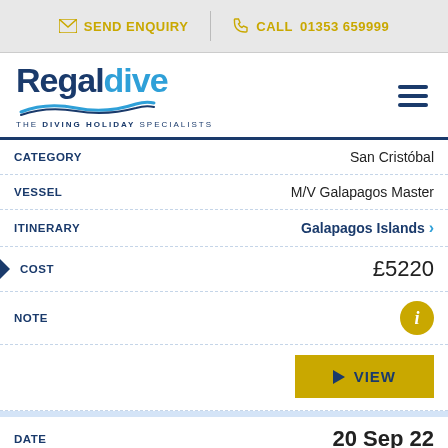SEND ENQUIRY | CALL 01353 659999
[Figure (logo): Regaldive logo - THE DIVING HOLIDAY SPECIALISTS]
| Field | Value |
| --- | --- |
| CATEGORY | San Cristóbal |
| VESSEL | M/V Galapagos Master |
| ITINERARY | Galapagos Islands |
| COST | £5220 |
| NOTE | i |
|  | VIEW |
| Field | Value |
| --- | --- |
| DATE | 20 Sep 22 |
| CATEGORY | Baltra |
| VESSEL | Aqua Galapagos |